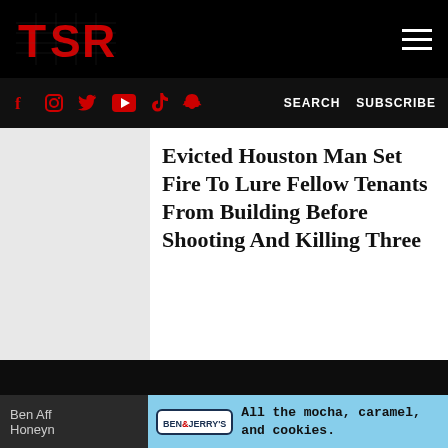TSR — The Shade Room navigation bar
Social icons: Facebook, Instagram, Twitter, YouTube, TikTok, Snapchat | SEARCH | SUBSCRIBE
Evicted Houston Man Set Fire To Lure Fellow Tenants From Building Before Shooting And Killing Three
[Figure (screenshot): Dark video player area embedded in article page]
Ben Aff
Honeym
[Figure (screenshot): Ben & Jerry's advertisement banner: All the mocha, caramel, and cookies.]